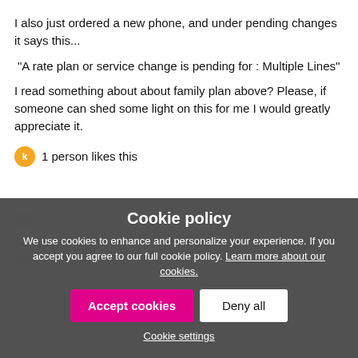I also just ordered a new phone, and under pending changes it says this...
"A rate plan or service change is pending for : Multiple Lines"
I read something about about family plan above? Please, if someone can shed some light on this for me I would greatly appreciate it.
1 person likes this
Dismalcyst
Same thing hap... someone watching my phone activity!
[Figure (screenshot): Cookie policy dialog overlay with title 'Cookie policy', body text about cookies and personalization, two buttons 'Accept cookies' (pink) and 'Deny all' (white), and a 'Cookie settings' link at the bottom.]